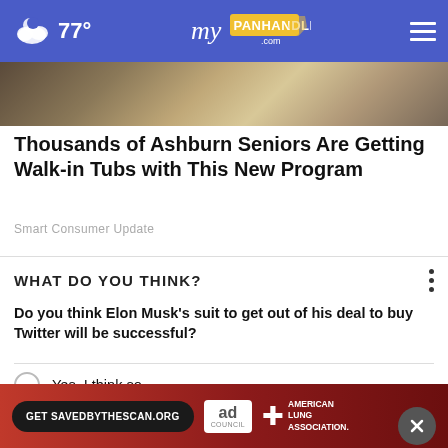77° myPanhandle.com
[Figure (photo): Hero image showing a close-up of what appears to be a walk-in tub or bathroom fixtures, brownish/golden tones]
Thousands of Ashburn Seniors Are Getting Walk-in Tubs with This New Program
Smart Consumer Update
WHAT DO YOU THINK?
Do you think Elon Musk's suit to get out of his deal to buy Twitter will be successful?
Yes, I think so
Maybe, I'm not sure
N...
O...
[Figure (other): Ad banner: red gradient background with 'Get SAVEDBYTHESCAN.ORG' button, Ad Council logo, and American Lung Association logo]